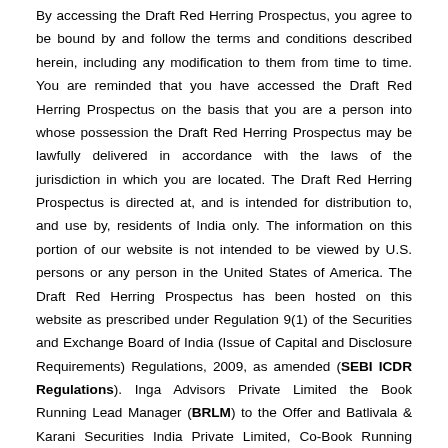By accessing the Draft Red Herring Prospectus, you agree to be bound by and follow the terms and conditions described herein, including any modification to them from time to time. You are reminded that you have accessed the Draft Red Herring Prospectus on the basis that you are a person into whose possession the Draft Red Herring Prospectus may be lawfully delivered in accordance with the laws of the jurisdiction in which you are located. The Draft Red Herring Prospectus is directed at, and is intended for distribution to, and use by, residents of India only. The information on this portion of our website is not intended to be viewed by U.S. persons or any person in the United States of America. The Draft Red Herring Prospectus has been hosted on this website as prescribed under Regulation 9(1) of the Securities and Exchange Board of India (Issue of Capital and Disclosure Requirements) Regulations, 2009, as amended (SEBI ICDR Regulations). Inga Advisors Private Limited the Book Running Lead Manager (BRLM) to the Offer and Batlivala & Karani Securities India Private Limited, Co-Book Running Lead